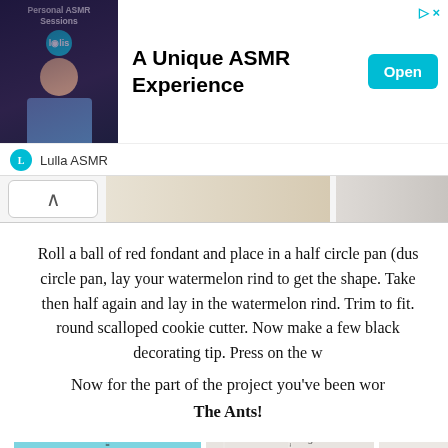[Figure (screenshot): Advertisement banner for 'A Unique ASMR Experience' by Lulla ASMR with an Open button]
[Figure (screenshot): Navigation bar with back arrow and partial images of wooden/craft items]
Roll a ball of red fondant and place in a half circle pan (dus circle pan, lay your watermelon rind to get the shape. Take then half again and lay in the watermelon rind. Trim to fit. round scalloped cookie cutter. Now make a few black decorating tip. Press on the w
Now for the part of the project you've been wor The Ants!
[Figure (photo): Blue silicone mold with decorative swirls and small oval/round shapes for making ant body parts]
[Figure (photo): Dark gray fondant ant body shape made from mold showing segmented body]
The Partiologist